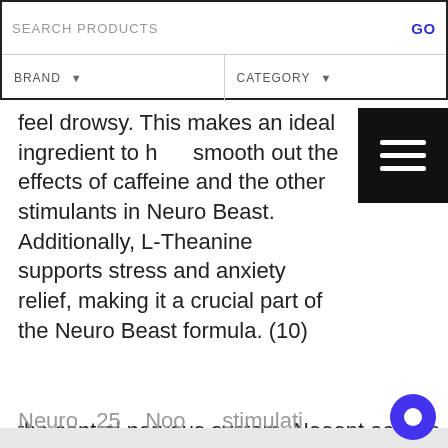SEARCH PRODUCTS   GO   BRAND ▼   CATEGORY ▼
feel drowsy. This makes an ideal ingredient to help smooth out the effects of caffeine and the other stimulants in Neuro Beast. Additionally, L-Theanine supports stress and anxiety relief, making it a crucial part of the Neuro Beast formula. (10)
This website uses cookies to ensure you get the best experience on our website. Learn more
Got it!
the central nervous system. Nooopt acts as a